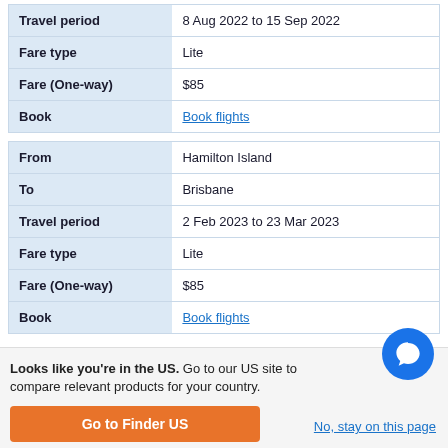| Field | Value |
| --- | --- |
| Travel period | 8 Aug 2022 to 15 Sep 2022 |
| Fare type | Lite |
| Fare (One-way) | $85 |
| Book | Book flights |
| Field | Value |
| --- | --- |
| From | Hamilton Island |
| To | Brisbane |
| Travel period | 2 Feb 2023 to 23 Mar 2023 |
| Fare type | Lite |
| Fare (One-way) | $85 |
| Book | Book flights |
Looks like you're in the US. Go to our US site to compare relevant products for your country.